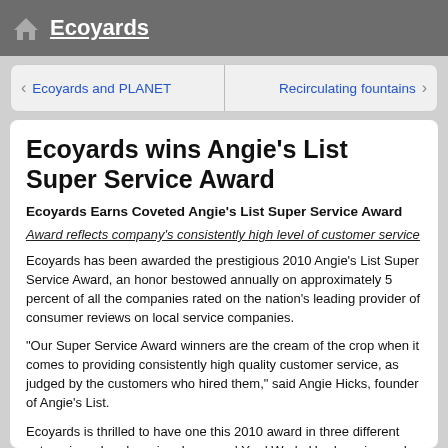Ecoyards
Ecoyards and PLANET   Recirculating fountains
Ecoyards wins Angie's List Super Service Award
Ecoyards Earns Coveted Angie's List Super Service Award
Award reflects company's consistently high level of customer service
Ecoyards has been awarded the prestigious 2010 Angie's List Super Service Award, an honor bestowed annually on approximately 5 percent of all the companies rated on the nation's leading provider of consumer reviews on local service companies.
“Our Super Service Award winners are the cream of the crop when it comes to providing consistently high quality customer service, as judged by the customers who hired them,” said Angie Hicks, founder of Angie’s List.
Ecoyards is thrilled to have one this 2010 award in three different categories – Landscaping; Lawn and Yard Work; Hardscaping and Pavers. Thanks to all our great customers for posting positive reviews on